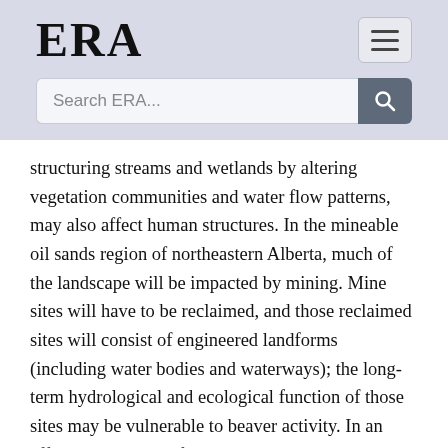ERA
Search ERA...
structuring streams and wetlands by altering vegetation communities and water flow patterns, may also affect human structures. In the mineable oil sands region of northeastern Alberta, much of the landscape will be impacted by mining. Mine sites will have to be reclaimed, and those reclaimed sites will consist of engineered landforms (including water bodies and waterways); the long-term hydrological and ecological function of those sites may be vulnerable to beaver activity. In an effort to determine if approaches exist that could manage the risk of beavers colonizing and negatively impacting reclaimed sites, we performed an extensive literature